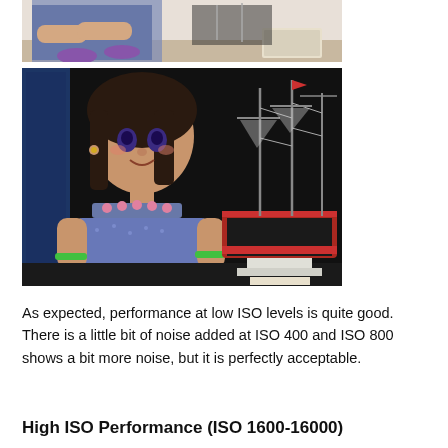[Figure (photo): Top portion of a doll with blue dress and purple shoes sitting next to a model ship, cropped view]
[Figure (photo): A doll in a blue dress with pink necklace sitting next to a detailed model sailing ship against a dark background]
As expected, performance at low ISO levels is quite good. There is a little bit of noise added at ISO 400 and ISO 800 shows a bit more noise, but it is perfectly acceptable.
High ISO Performance (ISO 1600-16000)